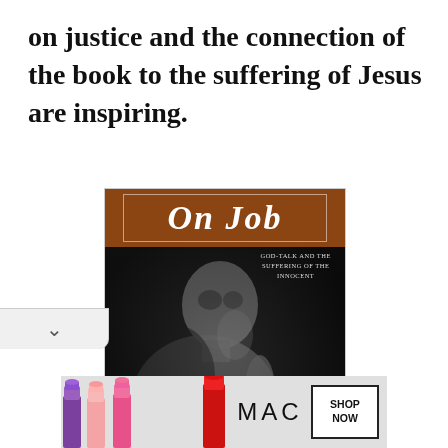on justice and the connection of the book to the suffering of Jesus are inspiring.
[Figure (photo): Book cover of 'On Job: God-Talk and the Suffering of the Innocent' by Gustavo Gutiérrez. Cover features a black-and-white photograph of a stone sculpture of a figure in a contemplative pose. The title 'On Job' appears in white italic text on a brown/orange background bar at the top, with subtitle 'God-Talk and the Suffering of the Innocent' in small caps below. Author name 'Gustavo Gutiérrez' appears in white text on a purple bar at the bottom.]
[Figure (screenshot): Advertisement banner for MAC cosmetics showing lipstick tubes in purple, pink, and red colors, the MAC logo, and a 'SHOP NOW' button.]